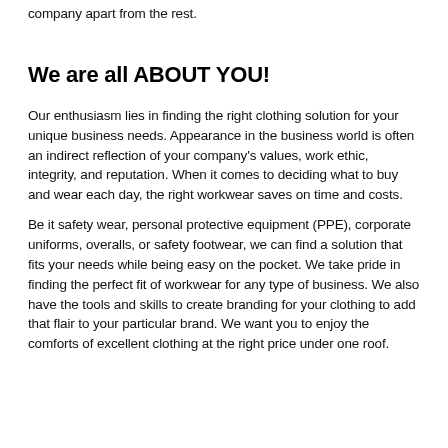company apart from the rest.
We are all ABOUT YOU!
Our enthusiasm lies in finding the right clothing solution for your unique business needs. Appearance in the business world is often an indirect reflection of your company's values, work ethic, integrity, and reputation. When it comes to deciding what to buy and wear each day, the right workwear saves on time and costs.
Be it safety wear, personal protective equipment (PPE), corporate uniforms, overalls, or safety footwear, we can find a solution that fits your needs while being easy on the pocket. We take pride in finding the perfect fit of workwear for any type of business. We also have the tools and skills to create branding for your clothing to add that flair to your particular brand. We want you to enjoy the comforts of excellent clothing at the right price under one roof.